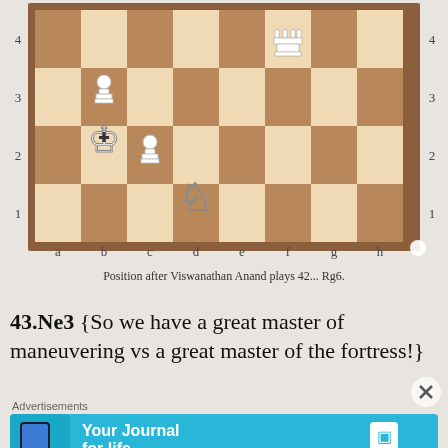[Figure (other): Chess board diagram showing a position after Viswanathan Anand plays 42... Rg6. White pieces: Rook on f4, Pawn on b3, Pawn on c2, King on b2, Knight on d1. Rank labels 1-4 on left and right, file labels a-h on bottom.]
Position after Viswanathan Anand plays 42... Rg6.
43.Ne3 {So we have a great master of maneuvering vs a great master of the fortress!}
Advertisements
[Figure (other): Advertisement banner for Day One app - 'Your Journal for life' with blue background and phone image]